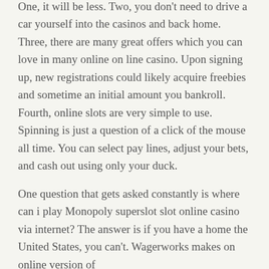One, it will be less. Two, you don't need to drive a car yourself into the casinos and back home. Three, there are many great offers which you can love in many online on line casino. Upon signing up, new registrations could likely acquire freebies and sometime an initial amount you bankroll. Fourth, online slots are very simple to use. Spinning is just a question of a click of the mouse all time. You can select pay lines, adjust your bets, and cash out using only your duck.
One question that gets asked constantly is where can i play Monopoly superslot slot online casino via internet? The answer is if you have a home the United States, you can't. Wagerworks makes on online version of